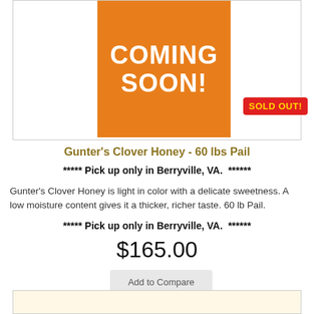[Figure (illustration): Orange 'COMING SOON!' banner overlaid on a product image area, with a red 'SOLD OUT!' badge in the lower right corner of the image box]
Gunter's Clover Honey - 60 lbs Pail
***** Pick up only in Berryville, VA.  ******
Gunter's Clover Honey is light in color with a delicate sweetness. A low moisture content gives it a thicker, richer taste. 60 lb Pail.
***** Pick up only in Berryville, VA.  ******
$165.00
Add to Compare
[Figure (photo): Bottom of page showing top of a honey jar and a blue 'Case of 12' badge, partial view]